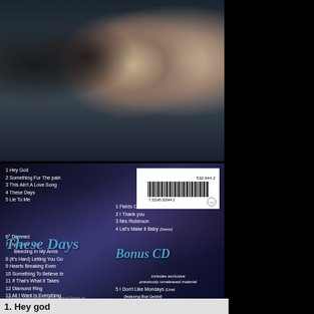[Figure (photo): Band photo showing four male band members (Bon Jovi) against a dark blue background, shot from chest up]
[Figure (photo): CD back cover with dark blue/purple background showing tracklisting for 'These Days' album with barcode]
These Days
1 Hey God
2 Something For The pain
3 This Ain't A Love Song
4 These Days
5 Lie To Me
6 Damned
7 My Guitar Lies Bleeding In My Arms
8 (It's Hard) Letting You Go
9 Hearts Breaking Even
10 Something To Believe In
11 If That's What It Takes
12 Diamond Ring
13 All I Want Is Everything
14 Bitter Wine
Bonus CD
1 Fields Of Fire (Demo)
2 I Thank you
3 Mrs Robinson
4 Let's Make it Baby (Demo)
includes exclusive previously unreleased material
5 I Don't Like Mondays (Live) (featuring Bob Geldof)
6 Crazy (Live)
7 Tumblin' Dice (Live)
8 Heaven Help Us (Live)
see enclosed booklet for full details
see booklet for full details
These Days, (P)1995 Bonus CD (P)1996 Polygram Records, Inc.
(C)1996 Polygram Records, Inc.
All rights reserved. Unauthorised copying, hiring, lending, public performance and broadcasting prohibited.
1. Hey god